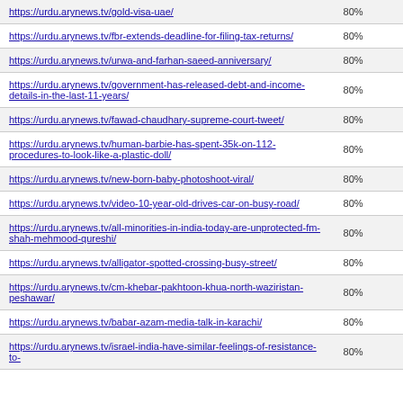| URL | Score |
| --- | --- |
| https://urdu.arynews.tv/gold-visa-uae/ | 80% |
| https://urdu.arynews.tv/fbr-extends-deadline-for-filing-tax-returns/ | 80% |
| https://urdu.arynews.tv/urwa-and-farhan-saeed-anniversary/ | 80% |
| https://urdu.arynews.tv/government-has-released-debt-and-income-details-in-the-last-11-years/ | 80% |
| https://urdu.arynews.tv/fawad-chaudhary-supreme-court-tweet/ | 80% |
| https://urdu.arynews.tv/human-barbie-has-spent-35k-on-112-procedures-to-look-like-a-plastic-doll/ | 80% |
| https://urdu.arynews.tv/new-born-baby-photoshoot-viral/ | 80% |
| https://urdu.arynews.tv/video-10-year-old-drives-car-on-busy-road/ | 80% |
| https://urdu.arynews.tv/all-minorities-in-india-today-are-unprotected-fm-shah-mehmood-qureshi/ | 80% |
| https://urdu.arynews.tv/alligator-spotted-crossing-busy-street/ | 80% |
| https://urdu.arynews.tv/cm-khebar-pakhtoon-khua-north-waziristan-peshawar/ | 80% |
| https://urdu.arynews.tv/babar-azam-media-talk-in-karachi/ | 80% |
| https://urdu.arynews.tv/israel-india-have-similar-feelings-of-resistance-to- | 80% |